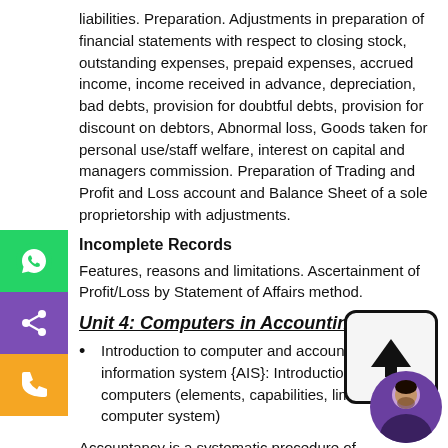liabilities. Preparation. Adjustments in preparation of financial statements with respect to closing stock, outstanding expenses, prepaid expenses, accrued income, income received in advance, depreciation, bad debts, provision for doubtful debts, provision for discount on debtors, Abnormal loss, Goods taken for personal use/staff welfare, interest on capital and managers commission. Preparation of Trading and Profit and Loss account and Balance Sheet of a sole proprietorship with adjustments.
Incomplete Records
Features, reasons and limitations. Ascertainment of Profit/Loss by Statement of Affairs method.
Unit 4: Computers in Accounting
Introduction to computer and accounting information system {AIS}: Introduction to computers (elements, capabilities, limitations of computer system)
Accountancy is a systematic procedure of recognising, documenting, calculating, categorising, substantiating, summarising, elucidating and liaising financial data. It divulges profit or loss for a given period of time and nature and value of